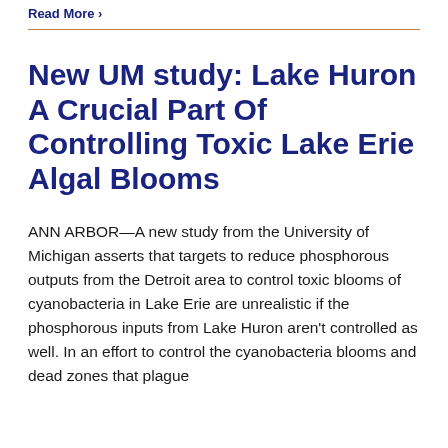Read More >
New UM study: Lake Huron A Crucial Part Of Controlling Toxic Lake Erie Algal Blooms
ANN ARBOR—A new study from the University of Michigan asserts that targets to reduce phosphorous outputs from the Detroit area to control toxic blooms of cyanobacteria in Lake Erie are unrealistic if the phosphorous inputs from Lake Huron aren't controlled as well. In an effort to control the cyanobacteria blooms and dead zones that plague